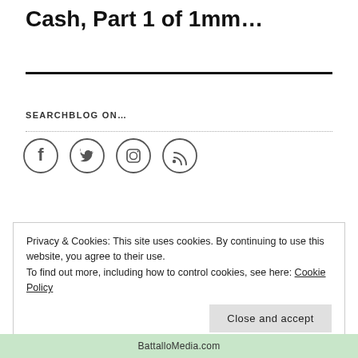Cash, Part 1 of 1mm...
SEARCHBLOG ON…
[Figure (other): Four circular social media icons: Facebook, Twitter, Instagram, RSS feed]
Privacy & Cookies: This site uses cookies. By continuing to use this website, you agree to their use.
To find out more, including how to control cookies, see here: Cookie Policy
Close and accept
BattalloMedia.com